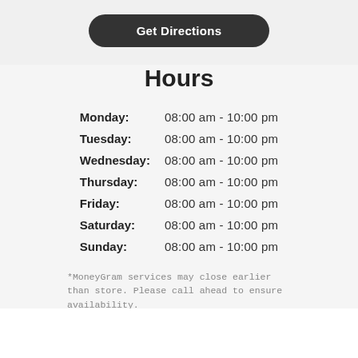Get Directions
Hours
| Day | Hours |
| --- | --- |
| Monday: | 08:00 am - 10:00 pm |
| Tuesday: | 08:00 am - 10:00 pm |
| Wednesday: | 08:00 am - 10:00 pm |
| Thursday: | 08:00 am - 10:00 pm |
| Friday: | 08:00 am - 10:00 pm |
| Saturday: | 08:00 am - 10:00 pm |
| Sunday: | 08:00 am - 10:00 pm |
*MoneyGram services may close earlier than store. Please call ahead to ensure availability.